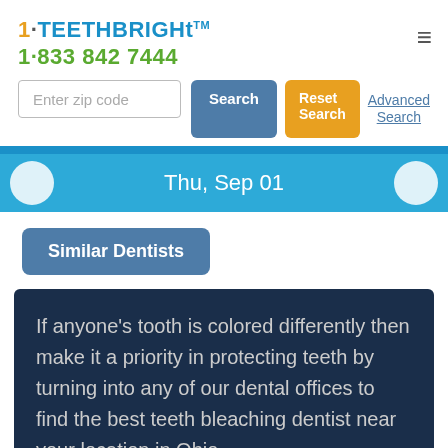[Figure (logo): 1-TEETHBRIGHt logo with TM mark and phone number 1·833 842 7444]
[Figure (screenshot): Zip code search bar with Search and Reset Search buttons and Advanced Search link]
Thu, Sep 01
Similar Dentists
If anyone’s tooth is colored differently then make it a priority in protecting teeth by turning into any of our dental offices to find the best teeth bleaching dentist near your location in Ohio.